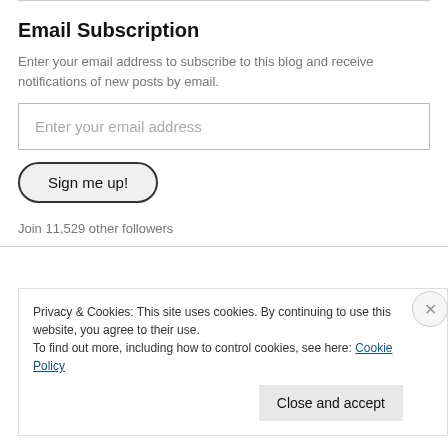Email Subscription
Enter your email address to subscribe to this blog and receive notifications of new posts by email.
Enter your email address
Sign me up!
Join 11,529 other followers
Privacy & Cookies: This site uses cookies. By continuing to use this website, you agree to their use.
To find out more, including how to control cookies, see here: Cookie Policy
Close and accept